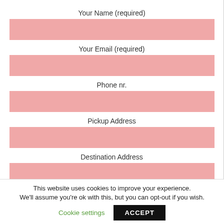Your Name (required)
Your Email (required)
Phone nr.
Pickup Address
Destination Address
This website uses cookies to improve your experience. We'll assume you're ok with this, but you can opt-out if you wish.
Cookie settings
ACCEPT